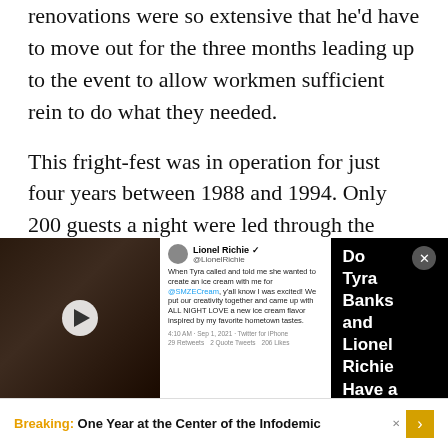renovations were so extensive that he'd have to move out for the three months leading up to the event to allow workmen sufficient rein to do what they needed.

This fright-fest was in operation for just four years between 1988 and 1994. Only 200 guests a night were led through the manse and its grounds. People typically lined up two days in advance to get in on the adventure. The tour was
[Figure (screenshot): Advertisement overlay showing Tyra Banks and Lionel Richie with tweet about ice cream flavor collaboration, headline reading 'Do Tyra Banks and Lionel Richie Have a New Ice Cream Flavor?']
[Figure (screenshot): Bottom banner advertisement: 'Breaking: One Year at the Center of the Infodemic']